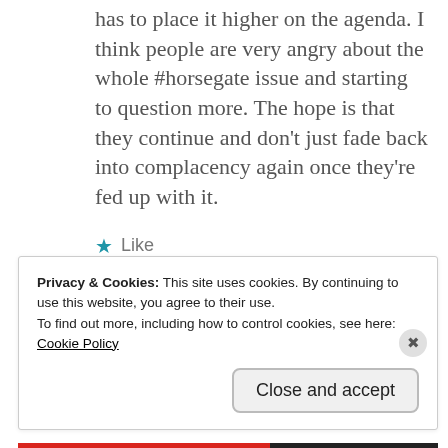has to place it higher on the agenda. I think people are very angry about the whole #horsegate issue and starting to question more. The hope is that they continue and don't just fade back into complacency again once they're fed up with it.
★ Like
Privacy & Cookies: This site uses cookies. By continuing to use this website, you agree to their use.
To find out more, including how to control cookies, see here:
Cookie Policy
Close and accept